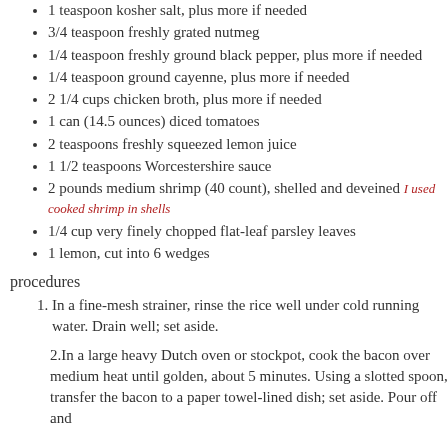1 teaspoon kosher salt, plus more if needed
3/4 teaspoon freshly grated nutmeg
1/4 teaspoon freshly ground black pepper, plus more if needed
1/4 teaspoon ground cayenne, plus more if needed
2 1/4 cups chicken broth, plus more if needed
1 can (14.5 ounces) diced tomatoes
2 teaspoons freshly squeezed lemon juice
1 1/2 teaspoons Worcestershire sauce
2 pounds medium shrimp (40 count), shelled and deveined [I used cooked shrimp in shells]
1/4 cup very finely chopped flat-leaf parsley leaves
1 lemon, cut into 6 wedges
procedures
1. In a fine-mesh strainer, rinse the rice well under cold running water. Drain well; set aside.
2. In a large heavy Dutch oven or stockpot, cook the bacon over medium heat until golden, about 5 minutes. Using a slotted spoon, transfer the bacon to a paper towel-lined dish; set aside. Pour off and